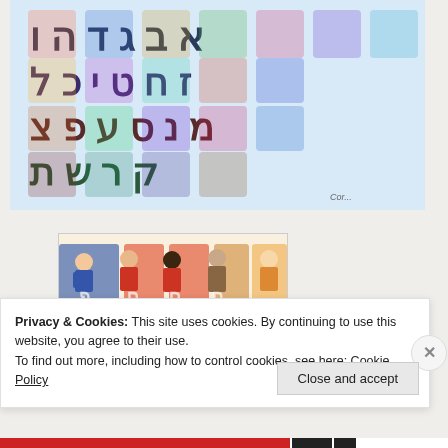[Figure (illustration): Colorful illustrated Hebrew alphabet artwork where each letter is decorated with miniature scenes and imagery representing Jewish culture and life, including Israeli flags, menorahs, and various cultural symbols. Multiple rows of large stylized Hebrew letters on a light blue background.]
[Figure (illustration): Colorful illustration showing children in front of large Hebrew letters. Children appear to be interacting with oversized decorative Hebrew letters, with figures wearing orange/red clothing.]
Privacy & Cookies: This site uses cookies. By continuing to use this website, you agree to their use.
To find out more, including how to control cookies, see here: Cookie Policy
Close and accept